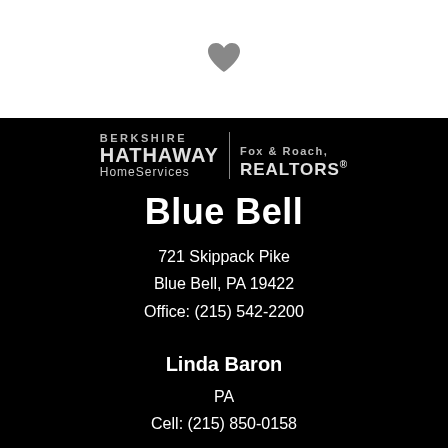[Figure (logo): Heart icon (favorite/save) on white background]
[Figure (logo): Berkshire Hathaway HomeServices Fox & Roach, REALTORS logo on black background]
Blue Bell
721 Skippack Pike
Blue Bell, PA 19422
Office: (215) 542-2200
Linda Baron
PA
Cell: (215) 850-0158
FOLLOW ME
[Figure (logo): Facebook circular icon]